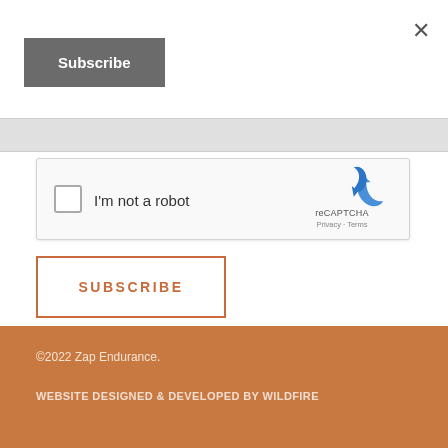×
Subscribe
[Figure (other): reCAPTCHA widget with checkbox labeled 'I'm not a robot', reCAPTCHA logo, Privacy and Terms links]
SUBSCRIBE
©2022 Zap Endurance. WEBSITE DESIGNED & DEVELOPED BY WILDFIRE